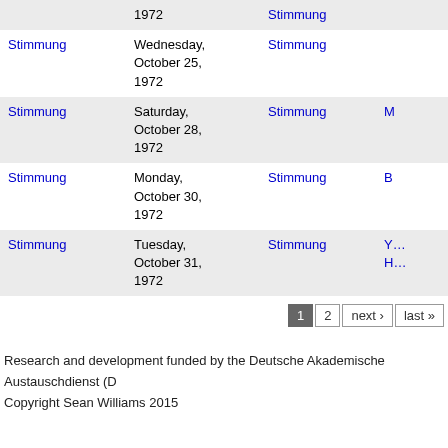|  | Date | Source | Title |
| --- | --- | --- | --- |
| Stimmung | 1972 | Stimmung |  |
| Stimmung | Wednesday, October 25, 1972 | Stimmung |  |
| Stimmung | Saturday, October 28, 1972 | Stimmung | M… |
| Stimmung | Monday, October 30, 1972 | Stimmung | B… |
| Stimmung | Tuesday, October 31, 1972 | Stimmung | Y… H… |
1  2  next ›  last »
Research and development funded by the Deutsche Akademische Austauschdienst (D…
Copyright Sean Williams 2015